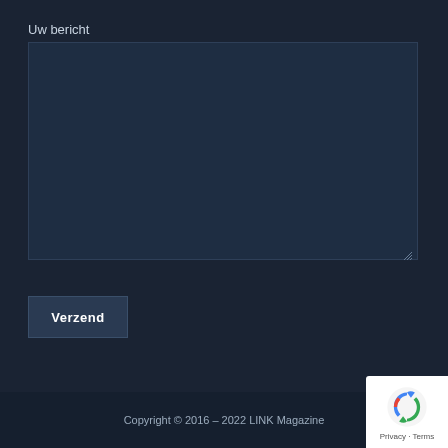Uw bericht
[Figure (screenshot): Empty textarea input field with dark background]
Verzend
Copyright © 2016 – 2022 LINK Magazine